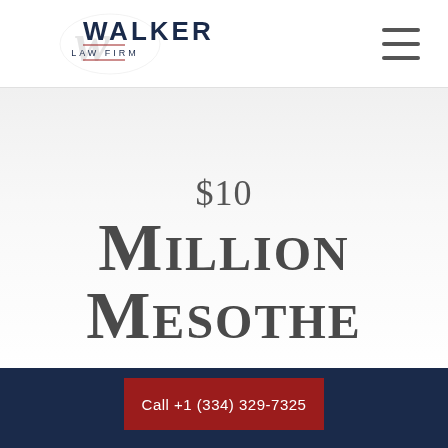[Figure (logo): Walker Law Firm logo with stylized W monogram and text 'WALKER LAW FIRM' in navy/red]
$10 Million Mesothe
Call +1 (334) 329-7325